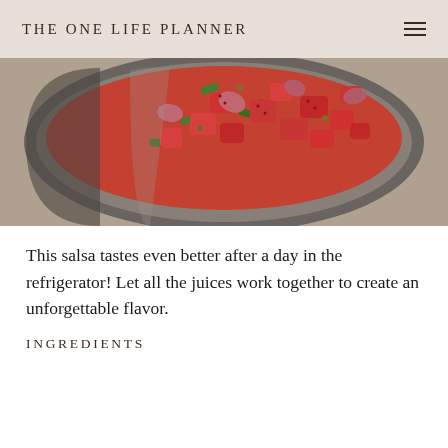THE ONE LIFE PLANNER
[Figure (photo): Close-up photo of a metal bowl filled with fresh salsa ingredients including chopped strawberries, green jalapeños or peppers, red onion, and cilantro.]
This salsa tastes even better after a day in the refrigerator! Let all the juices work together to create an unforgettable flavor.
INGREDIENTS